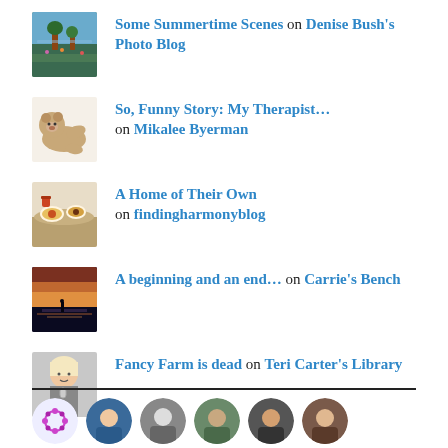Some Summertime Scenes on Denise Bush's Photo Blog
So, Funny Story: My Therapist... on Mikalee Byerman
A Home of Their Own on findingharmonyblog
A beginning and an end... on Carrie's Bench
Fancy Farm is dead on Teri Carter's Library